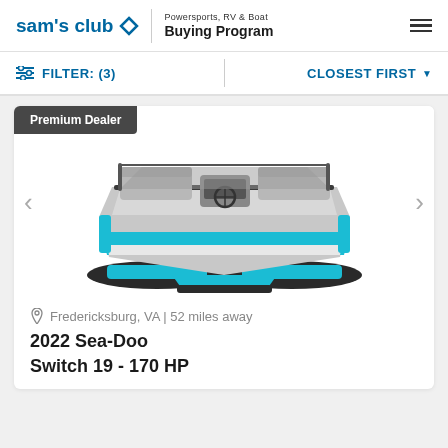sam's club — Powersports, RV & Boat Buying Program
FILTER: (3)   CLOSEST FIRST
[Figure (photo): Aerial view of a 2022 Sea-Doo Switch 19 pontoon boat with teal/blue and gray exterior, viewed from above at an angle, showing gray seating and steering console.]
Fredericksburg, VA | 52 miles away
2022 Sea-Doo
Switch 19 - 170 HP